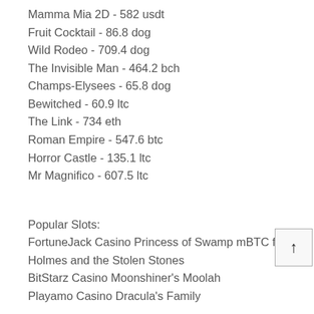Mamma Mia 2D - 582 usdt
Fruit Cocktail - 86.8 dog
Wild Rodeo - 709.4 dog
The Invisible Man - 464.2 bch
Champs-Elysees - 65.8 dog
Bewitched - 60.9 ltc
The Link - 734 eth
Roman Empire - 547.6 btc
Horror Castle - 135.1 ltc
Mr Magnifico - 607.5 ltc
Popular Slots:
FortuneJack Casino Princess of Swamp mBTC free bet Holmes and the Stolen Stones
BitStarz Casino Moonshiner's Moolah
Playamo Casino Dracula's Family
https://www.jennyhutch.com/profile/leroyloretz15808475/profile